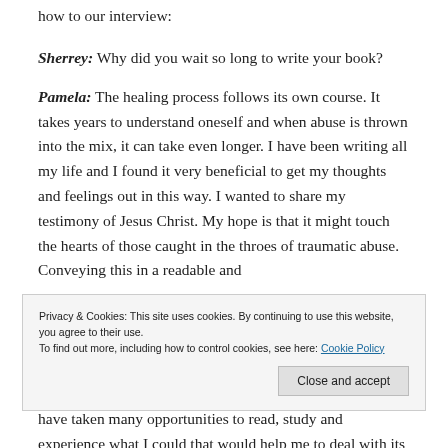how to our interview:
Sherrey: Why did you wait so long to write your book?
Pamela: The healing process follows its own course. It takes years to understand oneself and when abuse is thrown into the mix, it can take even longer. I have been writing all my life and I found it very beneficial to get my thoughts and feelings out in this way. I wanted to share my testimony of Jesus Christ. My hope is that it might touch the hearts of those caught in the throes of traumatic abuse. Conveying this in a readable and inoffensive way took time.
Privacy & Cookies: This site uses cookies. By continuing to use this website, you agree to their use.
To find out more, including how to control cookies, see here: Cookie Policy
Pamela: I survived my father's abuse. Throughout my life I have taken many opportunities to read, study and experience what I could that would help me to deal with its effects. Along the way,